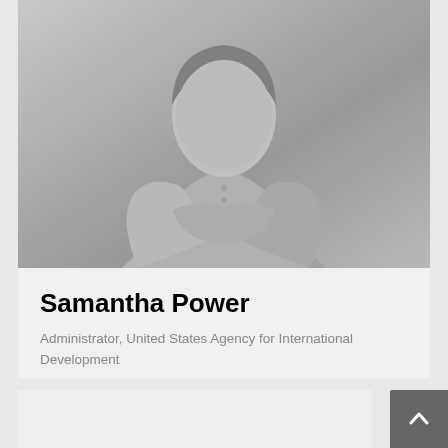[Figure (photo): Black and white portrait photo of Samantha Power with arms crossed, wearing a blazer]
Samantha Power
Administrator, United States Agency for International Development
[Figure (other): Light gray placeholder card area below the bio card]